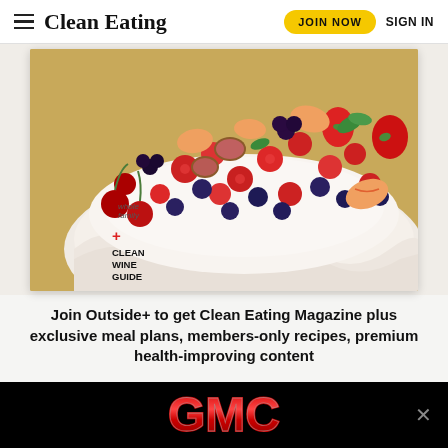Clean Eating  JOIN NOW  SIGN IN
[Figure (photo): Magazine cover of Clean Eating showing a pavlova dessert topped with mixed berries and fruits including raspberries, blueberries, strawberries, cherries, figs, and peach slices on a whipped cream base. Text on cover reads '+ CLEAN WINE GUIDE' and 'whole family'.]
Join Outside+ to get Clean Eating Magazine plus exclusive meal plans, members-only recipes, premium health-improving content
[Figure (logo): GMC logo advertisement banner on black background with red and silver lettering, with an X close button.]